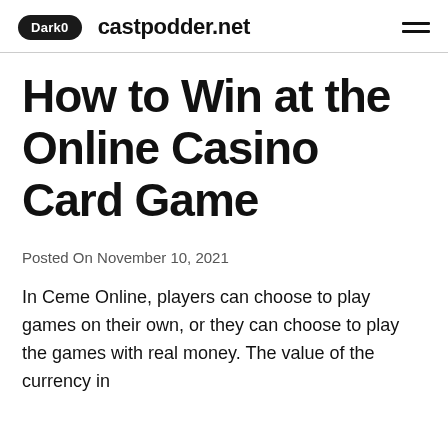Dark0  castpodder.net
How to Win at the Online Casino Card Game
Posted On November 10, 2021
In Ceme Online, players can choose to play games on their own, or they can choose to play the games with real money. The value of the currency in